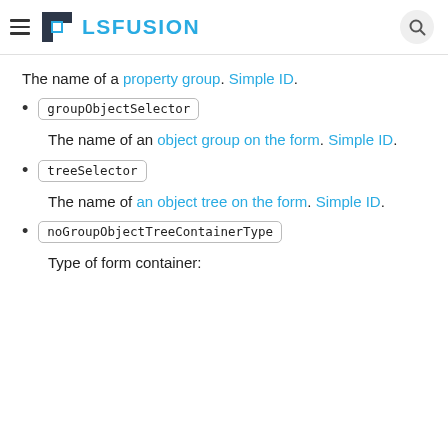≡ LSFUSION [search icon]
The name of a property group. Simple ID.
groupObjectSelector
The name of an object group on the form. Simple ID.
treeSelector
The name of an object tree on the form. Simple ID.
noGroupObjectTreeContainerType
Type of form container: